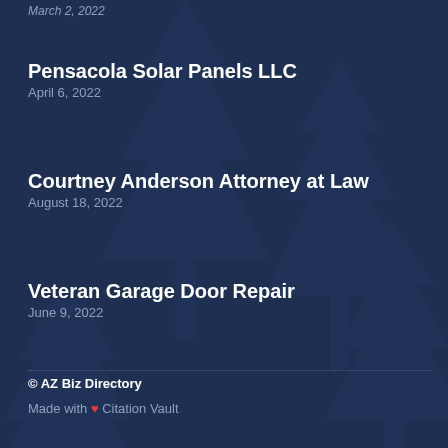March 2, 2022
Pensacola Solar Panels LLC
April 6, 2022
Courtney Anderson Attorney at Law
August 18, 2022
Veteran Garage Door Repair
June 9, 2022
© AZ Biz Directory
Made with ❤ Citation Vault